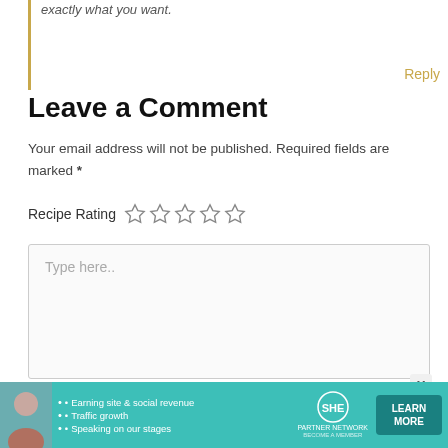exactly what you want.
Reply
Leave a Comment
Your email address will not be published. Required fields are marked *
Recipe Rating ☆☆☆☆☆
Type here..
[Figure (screenshot): SHE Media Partner Network advertisement banner with photo, bullet points (Earning site & social revenue, Traffic growth, Speaking on our stages), SHE logo, and LEARN MORE button]